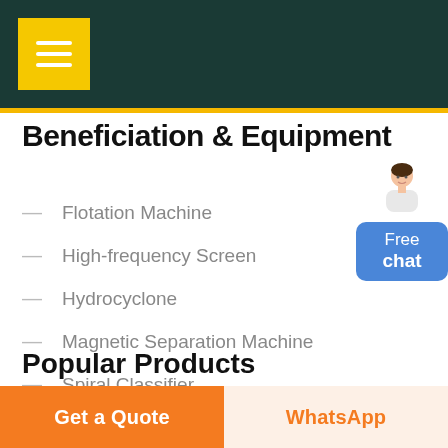Beneficiation & Equipment
Flotation Machine
High-frequency Screen
Hydrocyclone
Magnetic Separation Machine
Spiral Classifier
Popular Products
Get a Quote
WhatsApp